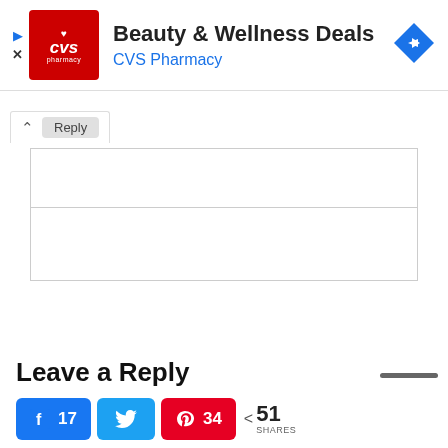[Figure (screenshot): CVS Pharmacy advertisement banner with red CVS logo, title 'Beauty & Wellness Deals', subtitle 'CVS Pharmacy' in blue, and a blue diamond navigation arrow icon on the right. Play and close icons on the left side.]
[Figure (screenshot): Reply comment toolbar with up arrow and Reply tab, and a comment input box below divided into two sections]
Leave a Reply
[Figure (screenshot): Social share buttons: Facebook (17 shares), Twitter, Pinterest (34 shares), and total 51 SHARES]